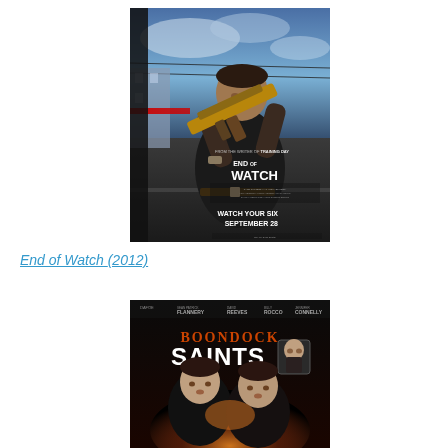[Figure (photo): Movie poster for 'End of Watch' (2012). Shows a man in black holding a rifle/AK-47 with golden finish. Text reads 'FROM THE WRITER OF TRAINING DAY', 'END OF WATCH', 'WATCH YOUR SIX SEPTEMBER 28'. Dark urban background with street scene.]
End of Watch (2012)
[Figure (photo): Movie poster for 'The Boondock Saints'. Shows two men in dark clothing against a dark background with glowing light effect. Text at top reads actor names: DAFOE, FLANNERY, REEVES, ROCCO, CONNELLY. Large text: 'BOONDOCK SAINTS'.]